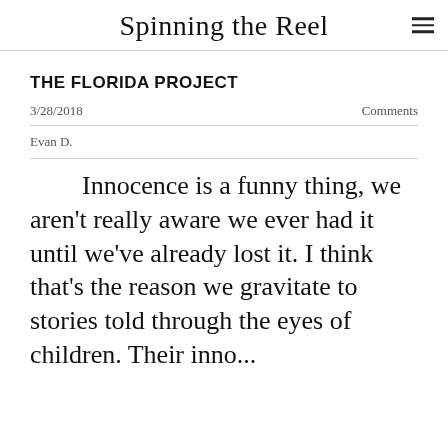Spinning the Reel
THE FLORIDA PROJECT
3/28/2018   Comments
Evan D.
Innocence is a funny thing, we aren't really aware we ever had it until we've already lost it. I think that's the reason we gravitate to stories told through the eyes of children. Their inno...